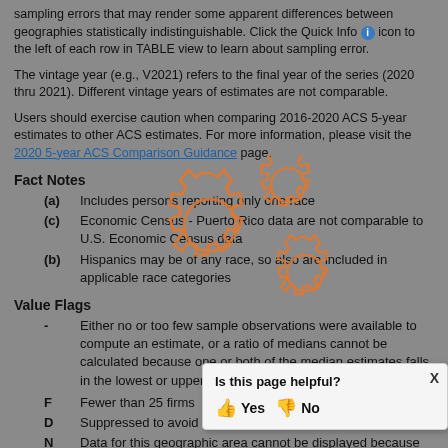sampling errors that may render some apparent differences between geographies statistically indistinguishable. Click the Quick Info icon to the left of each row in TABLE view to learn about sampling error.
The vintage year (e.g., V2021) refers to the final year of the series (2020 thru 2021). Different vintage years of estimates are not comparable.
Users should exercise caution when comparing 2016-2020 ACS 5-year estimates to other ACS estimates. For more information, please visit the 2020 5-year ACS Comparison Guidance page.
Fact Notes
(a)   Includes persons reporting only one race
(c)   Economic Census - Puerto Rico data are not comparable to U.S. Economic Census data
(b)   Hispanics may be of any race, so also are included in applicable race categories
Value Flags
-   Either no or too few sample observations were available to compute an estimate, or a ratio of medians cannot be calculated because one or both of the median estimates falls in the lowest or upper interval of an open ended distribution.
F   Fewer than 25 firms
D   Suppressed to avoid disclosure of confidential information
N   Data for this geographic area cannot be displayed because the number of sample cases is too small.
FN   Footnote on this item in place of
X   Not applicable
S   Suppressed; does not meet publ
NA   Not available